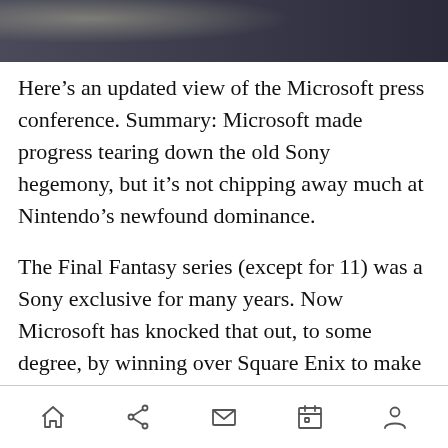[Figure (photo): Dark photograph strip at the top of the page, appears to show a dimly lit scene]
Here’s an updated view of the Microsoft press conference. Summary: Microsoft made progress tearing down the old Sony hegemony, but it’s not chipping away much at Nintendo’s newfound dominance.
The Final Fantasy series (except for 11) was a Sony exclusive for many years. Now Microsoft has knocked that out, to some degree, by winning over Square Enix to make Final Fantasy XIII for the Xbox 360, at least in Europe and the U.S. That’s just as important as eliminating Sony’s exclusive lock on Grand Theft Auto IV. Microsoft also got an exclusive for Rock Band 2 for the Xbox 360.
Navigation bar with home, share, mail, calendar, and profile icons